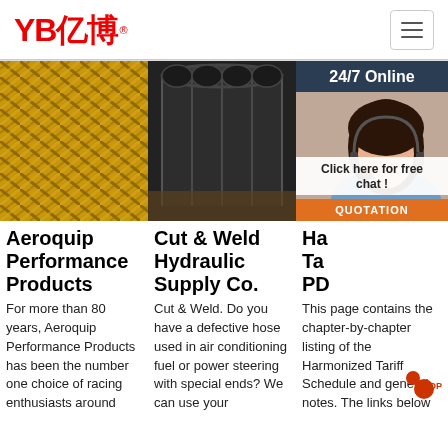YB 亿博 logo with hamburger menu
[Figure (photo): Braided metallic hydraulic hose close-up]
[Figure (photo): Black rubber/plastic industrial pipes stacked]
[Figure (photo): 24/7 Online customer service agent with headset, chat and quotation overlay]
Aeroquip Performance Products
Cut & Weld Hydraulic Supply Co.
Ha… Ta… PD…
For more than 80 years, Aeroquip Performance Products has been the number one choice of racing enthusiasts around
Cut & Weld. Do you have a defective hose used in air conditioning fuel or power steering with special ends? We can use your
This page contains the chapter-by-chapter listing of the Harmonized Tariff Schedule and general notes. The links below